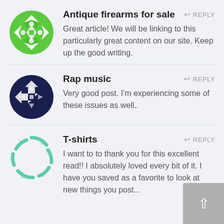[Figure (illustration): Green geometric circular avatar icon with cross/diamond pattern]
Antique firearms for sale
Great article! We will be linking to this particularly great content on our site. Keep up the good writing.
[Figure (illustration): Dark navy blue geometric circular avatar icon with diamond/cross pattern]
Rap music
Very good post. I'm experiencing some of these issues as well..
[Figure (illustration): Mint green outline circular avatar icon with arrow/chevron pattern]
T-shirts
I want to to thank you for this excellent read!! I absolutely loved every bit of it. I have you saved as a favorite to look at new things you post...